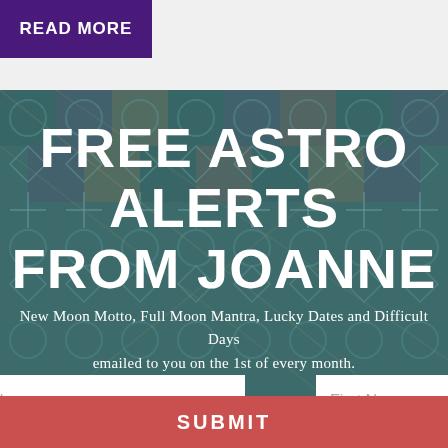READ MORE
FREE ASTRO ALERTS FROM JOANNE
New Moon Motto, Full Moon Mantra, Lucky Dates and Difficult Days emailed to you on the 1st of every month.
email | First Name | Last Name | SUBMIT